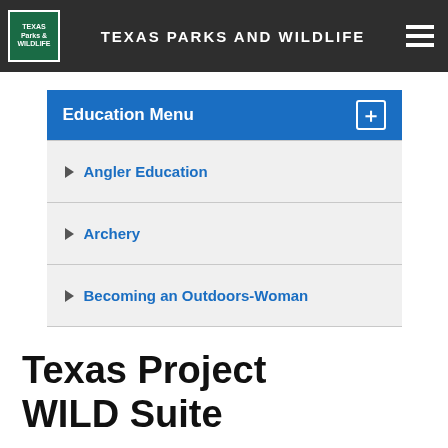TEXAS PARKS AND WILDLIFE
Education Menu
Angler Education
Archery
Becoming an Outdoors-Woman
Texas Project WILD Suite